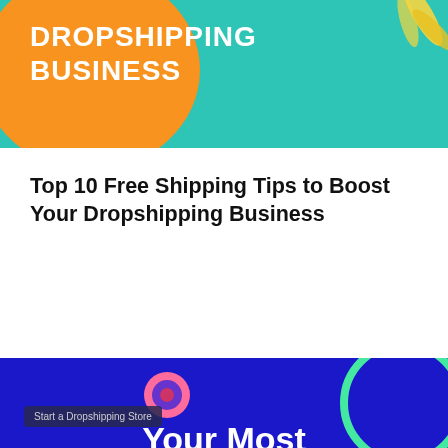[Figure (illustration): Top banner with teal background, orange circle, white bold text reading 'DROPSHIPPING BUSINESS' in uppercase, and decorative leaf illustration in top right corner.]
Top 10 Free Shipping Tips to Boost Your Dropshipping Business
[Figure (illustration): Bottom banner with dark blue background, decorative circles (pink, teal ring, white partial circle), yellow dots, green and pink small dots, a tooltip reading 'Start a Dropshipping Store', and bold white text 'Your Most Important Questions about Dropshipping'.]